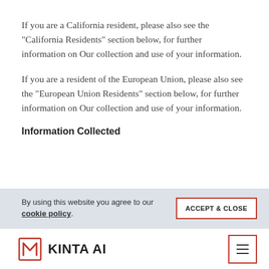If you are a California resident, please also see the “California Residents” section below, for further information on Our collection and use of your information.
If you are a resident of the European Union, please also see the “European Union Residents” section below, for further information on Our collection and use of your information.
Information Collected
By using this website you agree to our cookie policy.
[Figure (logo): Kinta AI logo with red stylized K icon and text KINTA AI]
[Figure (other): Hamburger menu button with three horizontal lines, red border]